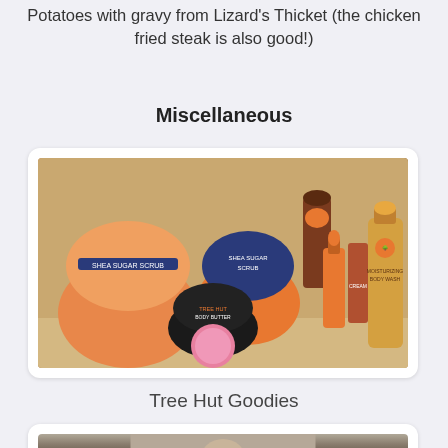Potatoes with gravy from Lizard's Thicket (the chicken fried steak is also good!)
Miscellaneous
[Figure (photo): Tree Hut branded beauty and body care products including shea sugar scrubs, body butter, bath bomb, body mist, hand cream, and body wash arranged on a surface]
Tree Hut Goodies
[Figure (photo): Partially visible photo at the bottom of the page, appears to show a person]